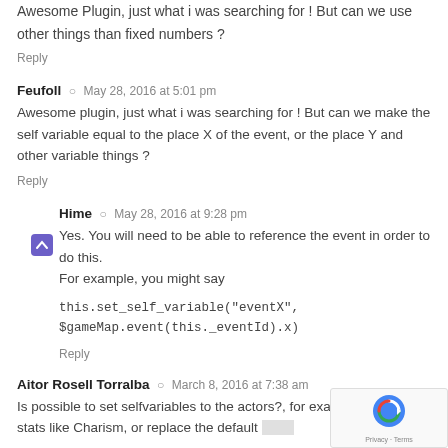Awesome Plugin, just what i was searching for ! But can we use other things than fixed numbers ?
Reply
Feufoll  ○  May 28, 2016 at 5:01 pm
Awesome plugin, just what i was searching for ! But can we make the self variable equal to the place X of the event, or the place Y and other variable things ?
Reply
Hime  ○  May 28, 2016 at 9:28 pm
Yes. You will need to be able to reference the event in order to do this.
For example, you might say
this.set_self_variable("eventX", $gameMap.event(this._eventId).x)
Reply
Aitor Rosell Torralba  ○  March 8, 2016 at 7:38 am
Is possible to set selfvariables to the actors?, for exa... create new stats like Charism, or replace the default stats,